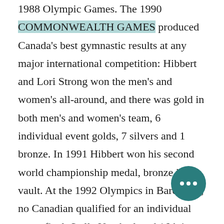1988 Olympic Games. The 1990 COMMONWEALTH GAMES produced Canada's best gymnastic results at any major international competition: Hibbert and Lori Strong won the men's and women's all-around, and there was gold in both men's and women's team, 6 individual event golds, 7 silvers and 1 bronze. In 1991 Hibbert won his second world championship medal, bronze in the vault. At the 1992 Olympics in Barcelona, no Canadian qualified for an individual event final. Stella Umeh placed 16th in the women's all-around and Hibbert placed 36th in the men's. The best Canadian performance at the 1996 Atlanta Olympics came from Yvonne Tousek, who finished 26th in the women's all-